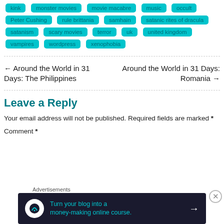kink, monster movies, movie macabre, music, occult, Peter Cushing, rule brittania, samhain, satanic rites of dracula, satanism, scary movies, terror, uk, united kingdom, vampires, wordpress, xenophobia
← Around the World in 31 Days: The Philippines
Around the World in 31 Days: Romania →
Leave a Reply
Your email address will not be published. Required fields are marked *
Comment *
Advertisements
Turn your blog into a money-making online course. →